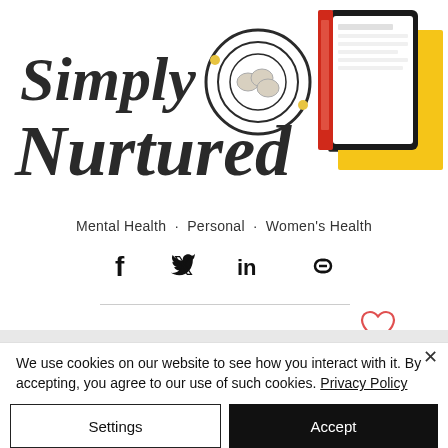[Figure (logo): Simply Nurtured script logo with bird nest and eggs illustration]
[Figure (illustration): Top-right corner tablet/device image with yellow background]
[Figure (other): Hamburger menu icon (two horizontal lines)]
Mental Health · Personal · Women's Health
[Figure (other): Social sharing icons: Facebook, Twitter, LinkedIn, Link]
[Figure (other): Heart/like icon in red outline]
We use cookies on our website to see how you interact with it. By accepting, you agree to our use of such cookies. Privacy Policy
Settings
Accept